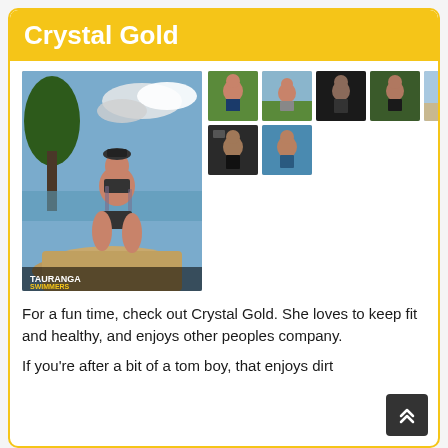Crystal Gold
[Figure (photo): Main profile photo of Crystal Gold posing on rocks near water, wearing a dark bikini with tattoos visible, with text overlay 'TAURANGA SWIMMERS' at bottom. Seven thumbnail photos arranged in two rows to the right showing various outdoor and casual photos.]
For a fun time, check out Crystal Gold. She loves to keep fit and healthy, and enjoys other peoples company.
If you're after a bit of a tom boy, that enjoys dirt